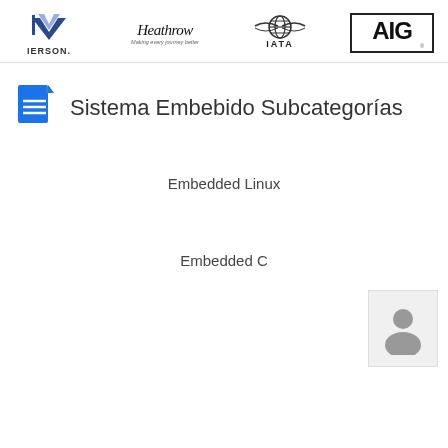[Figure (logo): Row of four logos: IERSON, Heathrow (Making every journey better), IATA, AIG]
Sistema Embebido Subcategorías
Embedded Linux
[Figure (illustration): Grey user/person silhouette icon on light grey background]
Embedded C